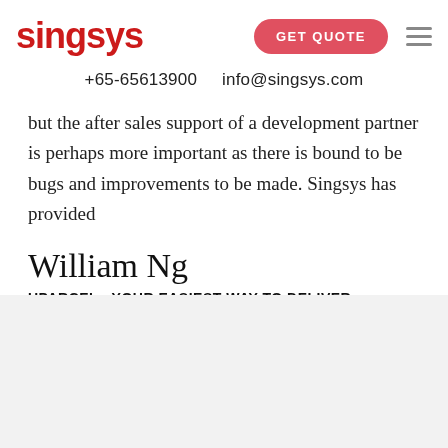singsys | GET QUOTE
+65-65613900   info@singsys.com
but the after sales support of a development partner is perhaps more important as there is bound to be bugs and improvements to be made. Singsys has provided
William Ng
UPARCEL - YOUR EASIEST WAY TO DELIVER